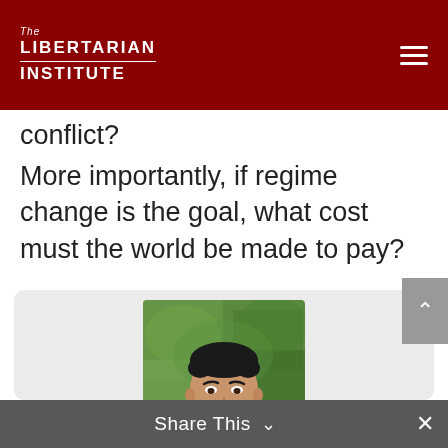The Libertarian Institute
conflict?
More importantly, if regime change is the goal, what cost must the world be made to pay?
[Figure (photo): Headshot of a young man in a dark suit and tie, smiling, with green foliage in the background, inside a light gray rounded card]
Share This